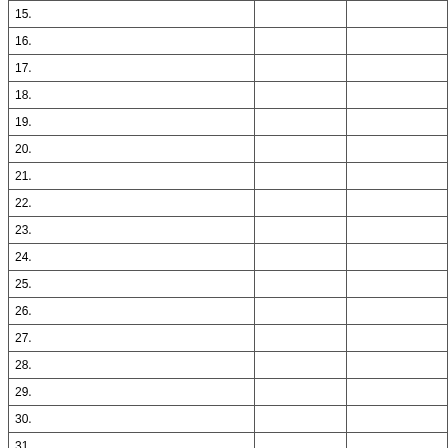| 15. |  |  |
| 16. |  |  |
| 17. |  |  |
| 18. |  |  |
| 19. |  |  |
| 20. |  |  |
| 21. |  |  |
| 22. |  |  |
| 23. |  |  |
| 24. |  |  |
| 25. |  |  |
| 26. |  |  |
| 27. |  |  |
| 28. |  |  |
| 29. |  |  |
| 30. |  |  |
| 31. |  |  |
| 32. |  |  |
| 33. |  |  |
| 34. |  |  |
| 35. |  |  |